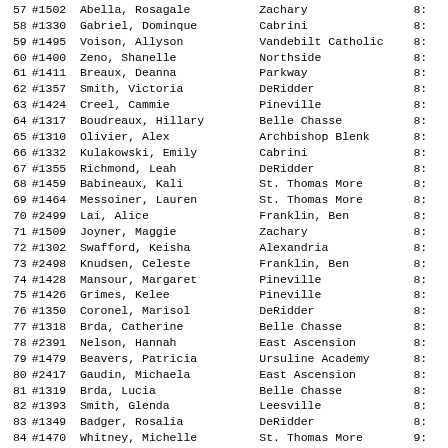| Rank | Bib | Name | School | Score |
| --- | --- | --- | --- | --- |
| 57 | #1502 | Abella, Rosagale | Zachary | 8: |
| 58 | #1330 | Gabriel, Dominque | Cabrini | 8: |
| 59 | #1495 | Voison, Allyson | Vandebilt Catholic | 8: |
| 60 | #1400 | Zeno, Shanelle | Northside | 8: |
| 61 | #1411 | Breaux, Deanna | Parkway | 8: |
| 62 | #1357 | Smith, Victoria | DeRidder | 8: |
| 63 | #1424 | Creel, Cammie | Pineville | 8: |
| 64 | #1317 | Boudreaux, Hillary | Belle Chasse | 8: |
| 65 | #1310 | Olivier, Alex | Archbishop Blenk | 8: |
| 66 | #1332 | Kulakowski, Emily | Cabrini | 8: |
| 67 | #1355 | Richmond, Leah | DeRidder | 8: |
| 68 | #1459 | Babineaux, Kali | St. Thomas More | 8: |
| 69 | #1464 | Messoiner, Lauren | St. Thomas More | 8: |
| 70 | #2499 | Lai, Alice | Franklin, Ben | 8: |
| 71 | #1509 | Joyner, Maggie | Zachary | 8: |
| 72 | #1302 | Swafford, Keisha | Alexandria | 8: |
| 73 | #2498 | Knudsen, Celeste | Franklin, Ben | 8: |
| 74 | #1428 | Mansour, Margaret | Pineville | 8: |
| 75 | #1426 | Grimes, Kelee | Pineville | 8: |
| 76 | #1350 | Coronel, Marisol | DeRidder | 8: |
| 77 | #1318 | Brda, Catherine | Belle Chasse | 8: |
| 78 | #2391 | Nelson, Hannah | East Ascension | 8: |
| 79 | #1479 | Beavers, Patricia | Ursuline Academy | 8: |
| 80 | #2417 | Gaudin, Michaela | East Ascension | 8: |
| 81 | #1319 | Brda, Lucia | Belle Chasse | 8: |
| 82 | #1393 | Smith, Glenda | Leesville | 8: |
| 83 | #1349 | Badger, Rosalia | DeRidder | 8: |
| 84 | #1470 | Whitney, Michelle | St. Thomas More | 9: |
| 85 | #2500 | Macika, Shannon | Franklin, Ben | 9: |
| 86 | #2393 | Simon, Gavita | East Ascension | 9: |
| 87 | #1314 | Lagrange, Hailee | Beau Chene | 9: |
| 88 | #1338 | Uli, Allison | Cabrini | 9: |
| 89 | #1510 | Miller, Lauren | Zachary | 9: |
| 90 | #1466 | Murphy, Danielle | St. Thomas More | 9: |
| 91 | #1374 | Stebbins, Jamie | Haughton | 9: |